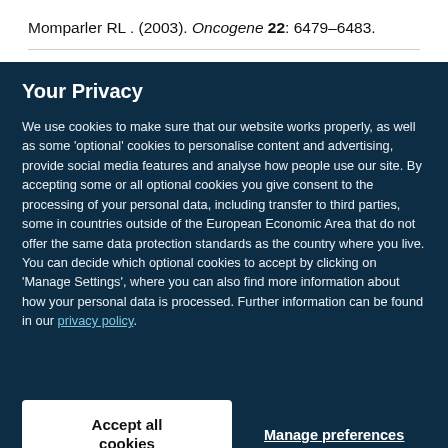Momparler RL . (2003). Oncogene 22: 6479–6483.
Your Privacy
We use cookies to make sure that our website works properly, as well as some 'optional' cookies to personalise content and advertising, provide social media features and analyse how people use our site. By accepting some or all optional cookies you give consent to the processing of your personal data, including transfer to third parties, some in countries outside of the European Economic Area that do not offer the same data protection standards as the country where you live. You can decide which optional cookies to accept by clicking on 'Manage Settings', where you can also find more information about how your personal data is processed. Further information can be found in our privacy policy.
Accept all cookies
Manage preferences